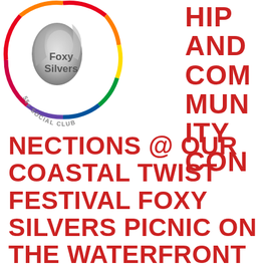[Figure (logo): Foxy Silvers 55+ Social Club circular logo with rainbow border and silver fox graphic, text 'Foxy Silvers' and '55+ SOCIAL CLUB']
HIP AND COM MUN ITY CON NECTIONS @ OUR COASTAL TWIST FESTIVAL FOXY SILVERS PICNIC ON THE WATERFRONT